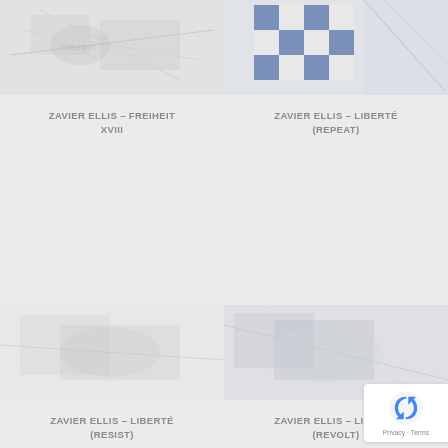[Figure (photo): Abstract artwork image - Freiheit XVIII, light tones with grey textures]
ZAVIER ELLIS – FREIHEIT XVIII
[Figure (photo): Abstract artwork image - Liberté (Repeat), blue and white geometric/checkered pattern]
ZAVIER ELLIS – LIBERTÉ (REPEAT)
[Figure (photo): Abstract artwork image - Liberté (Resist), light minimal tones]
ZAVIER ELLIS – LIBERTÉ (RESIST)
[Figure (photo): Abstract artwork image - Liberté (Revolt), partially visible]
ZAVIER ELLIS – LIBERTÉ (REVOLT)